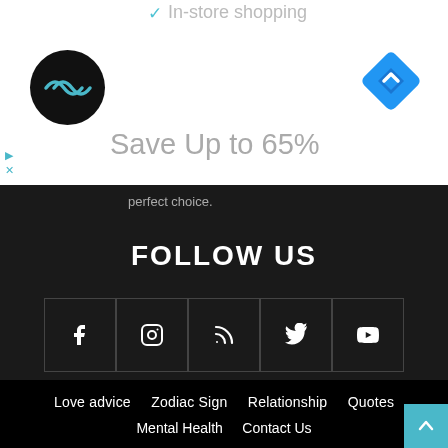[Figure (screenshot): Advertisement banner with in-store shopping text, logo circle, diamond navigation icon, and Save Up to 65% text]
perfect choice.
FOLLOW US
[Figure (infographic): Row of 5 social media icon boxes: Facebook, Instagram, RSS feed, Twitter, YouTube]
Love advice   Zodiac Sign   Relationship   Quotes   Mental Health   Contact Us   © Copyright © 2021-The Thought Catalogs. All rights reserved